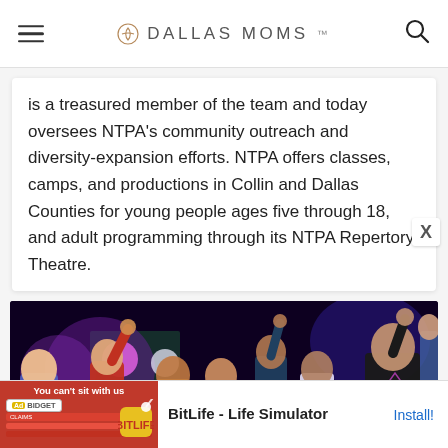DALLAS MOMS
is a treasured member of the team and today oversees NTPA's community outreach and diversity-expansion efforts. NTPA offers classes, camps, and productions in Collin and Dallas Counties for young people ages five through 18, and adult programming through its NTPA Repertory Theatre.
[Figure (photo): Young performers on a theatre stage with colorful stage lighting, arms raised, wearing casual clothing including a Pink Floyd t-shirt.]
[Figure (screenshot): Advertisement for BitLife - Life Simulator app with red background and app icon. Shows 'Ad' label, app name 'BitLife - Life Simulator' and 'Install!' button.]